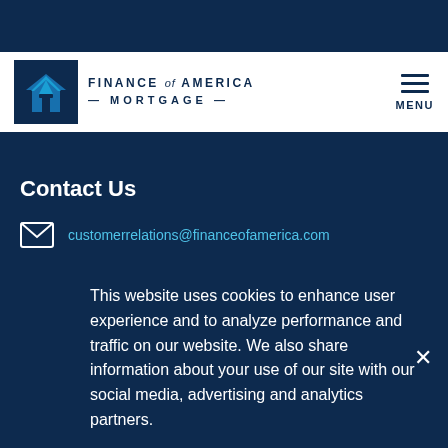[Figure (logo): Finance of America Mortgage logo — dark navy square with white house/letter A icon, brand name text to the right]
Contact Us
customerrelations@financeofamerica.com
This website uses cookies to enhance user experience and to analyze performance and traffic on our website. We also share information about your use of our site with our social media, advertising and analytics partners.